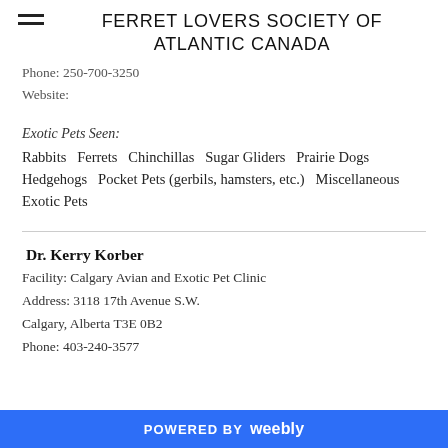FERRET LOVERS SOCIETY OF ATLANTIC CANADA
Phone: 250-700-3250
Website:
Exotic Pets Seen:
Rabbits  Ferrets  Chinchillas  Sugar Gliders  Prairie Dogs  Hedgehogs  Pocket Pets (gerbils, hamsters, etc.)  Miscellaneous Exotic Pets
Dr. Kerry Korber
Facility: Calgary Avian and Exotic Pet Clinic
Address: 3118 17th Avenue S.W.
Calgary, Alberta T3E 0B2
Phone: 403-240-3577
POWERED BY weebly